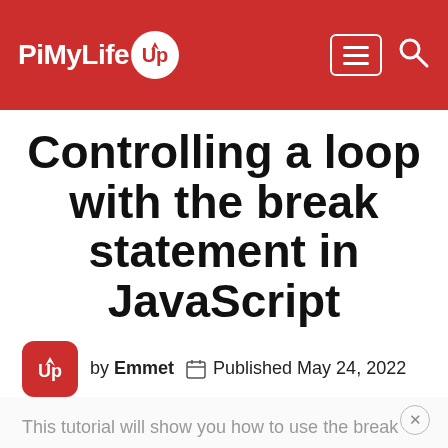[Figure (logo): PiMyLifeUp logo in red header with hamburger menu and search icon]
Controlling a loop with the break statement in JavaScript
by Emmet   Published May 24, 2022
JavaScript
This tutorial will show you how to use the break